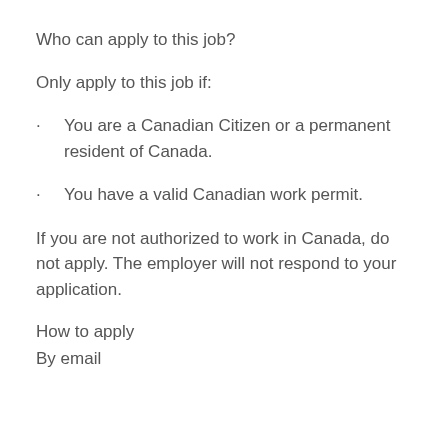Who can apply to this job?
Only apply to this job if:
You are a Canadian Citizen or a permanent resident of Canada.
You have a valid Canadian work permit.
If you are not authorized to work in Canada, do not apply. The employer will not respond to your application.
How to apply
By email